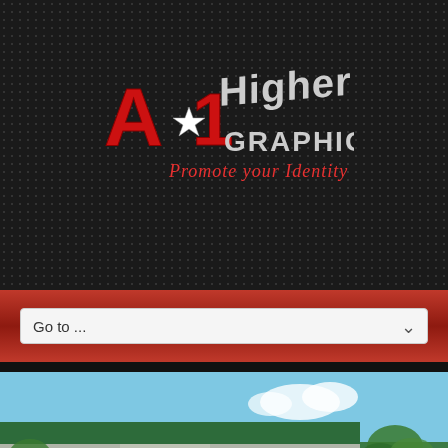[Figure (logo): A-1 Higher Graphics logo with red bold letters 'A', star, '1' and stylized grey/white 'Higher Graphics' text, with red italic tagline 'Promote your Identity']
Go to ...
[Figure (photo): Exterior photo of A-1 Higher Graphics commercial building with green trim roof, palm trees, blue sky]
A-1 Higher Graphics
3671 Industry Ave Suite B-1 Lakewood, CA 90712 Mobile: (562) 824-5090 Office: (562) 424-5800 Read More
Your Graphic Design Solution